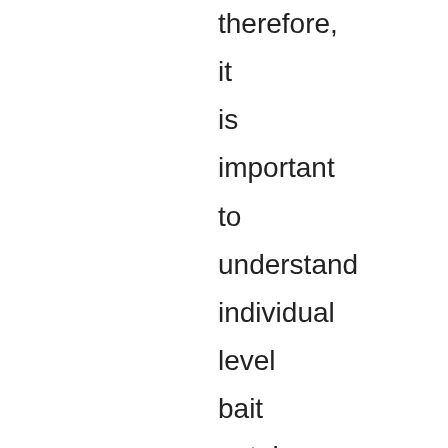therefore, it is important to understand individual level bait uptake in order to optimise delivery methods. 3. Passive Integrated Transponder (PIT) tags